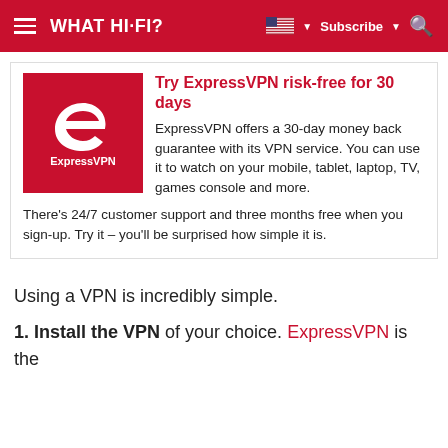WHAT HI-FI? Subscribe
[Figure (infographic): ExpressVPN promotional box with red logo on the left and text on the right reading 'Try ExpressVPN risk-free for 30 days'. ExpressVPN offers a 30-day money back guarantee with its VPN service. You can use it to watch on your mobile, tablet, laptop, TV, games console and more. There's 24/7 customer support and three months free when you sign-up. Try it – you'll be surprised how simple it is.]
Using a VPN is incredibly simple.
1. Install the VPN of your choice. ExpressVPN is the